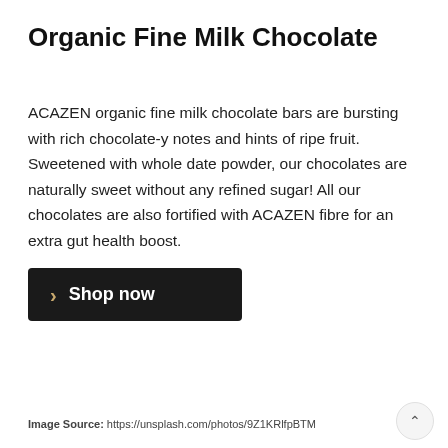Organic Fine Milk Chocolate
ACAZEN organic fine milk chocolate bars are bursting with rich chocolate-y notes and hints of ripe fruit. Sweetened with whole date powder, our chocolates are naturally sweet without any refined sugar! All our chocolates are also fortified with ACAZEN fibre for an extra gut health boost.
Shop now
Image Source: https://unsplash.com/photos/9Z1KRlfpBTM